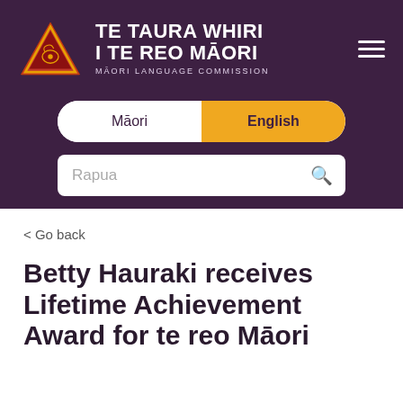[Figure (logo): Te Taura Whiri i te Reo Māori (Māori Language Commission) website header with triangular logo, organization name in white text on dark purple background, hamburger menu icon, language toggle (Māori/English), and search bar with placeholder 'Rapua']
< Go back
Betty Hauraki receives Lifetime Achievement Award for te reo Māori